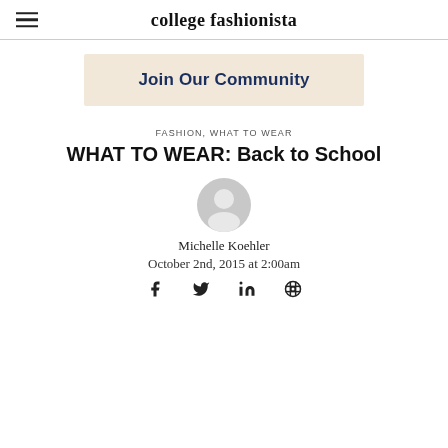college fashionista
[Figure (infographic): Join Our Community banner with beige background and bold dark blue text]
FASHION, WHAT TO WEAR
WHAT TO WEAR: Back to School
[Figure (illustration): Circular user avatar icon in grey]
Michelle Koehler
October 2nd, 2015 at 2:00am
[Figure (infographic): Social media share icons: Facebook, Twitter, LinkedIn, Pinterest]